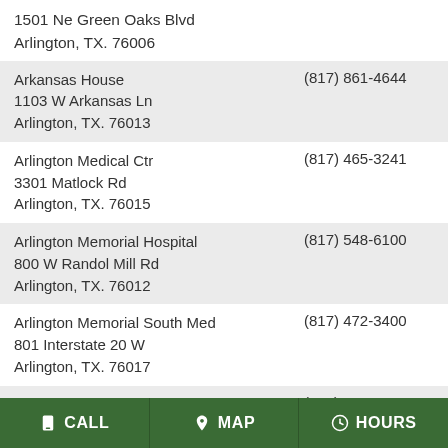1501 Ne Green Oaks Blvd
Arlington, TX. 76006
| Name / Address | Phone |
| --- | --- |
| Arkansas House
1103 W Arkansas Ln
Arlington, TX. 76013 | (817) 861-4644 |
| Arlington Medical Ctr
3301 Matlock Rd
Arlington, TX. 76015 | (817) 465-3241 |
| Arlington Memorial Hospital
800 W Randol Mill Rd
Arlington, TX. 76012 | (817) 548-6100 |
| Arlington Memorial South Med
801 Interstate 20 W
Arlington, TX. 76017 | (817) 472-3400 |
| Arlington Plaza
6801 W Poly Webb Rd
Arlington, TX. 76016 | (817) 478-7591 |
| Barbee House
2210 Bainwood Trl
Arlington, TX. 76015 | (817) 784-1931 |
CALL  MAP  HOURS